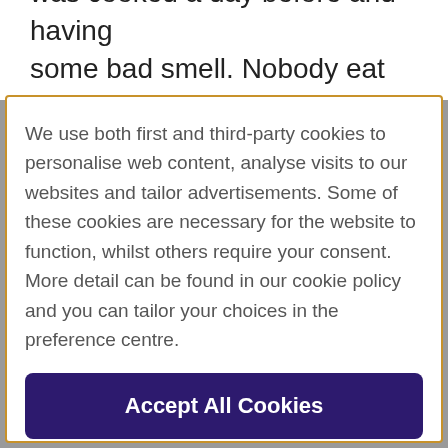was cooked a day before and having some bad smell. Nobody eat fully and left
We use both first and third-party cookies to personalise web content, analyse visits to our websites and tailor advertisements. Some of these cookies are necessary for the website to function, whilst others require your consent. More detail can be found in our cookie policy and you can tailor your choices in the preference centre.
Accept All Cookies
Cookies Settings